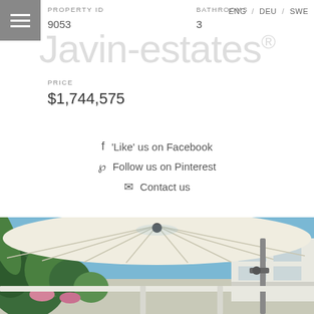ENG / DEU / SWE
PROPERTY ID
9053
BATHROOMS
3
[Figure (logo): Javin-estates watermark logo in light grey]
PRICE
$1,744,575
f  'Like' us on Facebook
P  Follow us on Pinterest
✉  Contact us
[Figure (photo): Outdoor patio photo showing a large white cantilever umbrella, tropical greenery, blue sky, and a modern white building in the background]